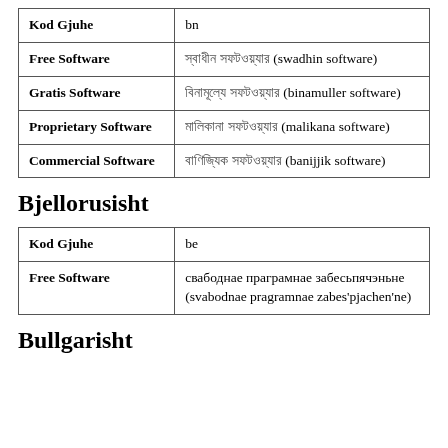| Kod Gjuhe | bn |
| --- | --- |
| Free Software | স্বাধীন সফটওয়্যার (swadhin software) |
| Gratis Software | বিনামূল্যে সফটওয়্যার (binamuller software) |
| Proprietary Software | মালিকানা সফটওয়্যার (malikana software) |
| Commercial Software | বাণিজ্যিক সফটওয়্যার (banijjik software) |
Bjellorusisht
| Kod Gjuhe | be |
| --- | --- |
| Free Software | свабоднае праграмнае забесьпячэньне (svabodnae pragramnae zabes'pjachen'ne) |
Bullgarisht